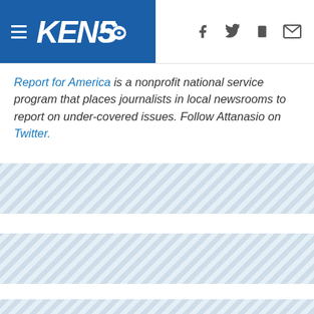KENS5 — navigation header with hamburger menu, KENS5 logo, and social/share icons
Report for America is a nonprofit national service program that places journalists in local newsrooms to report on under-covered issues. Follow Attanasio on Twitter.
[Figure (other): Striped placeholder/advertisement band]
[Figure (other): Striped placeholder/advertisement band]
[Figure (other): Striped placeholder/advertisement band]